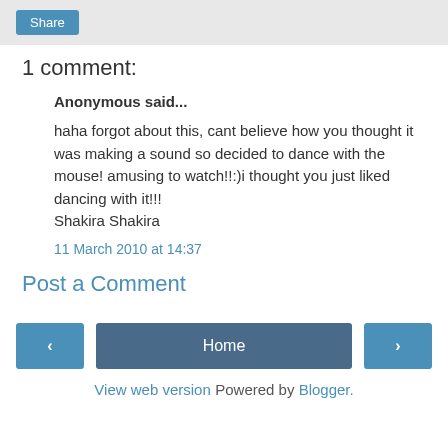Share
1 comment:
Anonymous said...
haha forgot about this, cant believe how you thought it was making a sound so decided to dance with the mouse! amusing to watch!!:)i thought you just liked dancing with it!!!
Shakira Shakira
11 March 2010 at 14:37
Post a Comment
< Home >
View web version
Powered by Blogger.